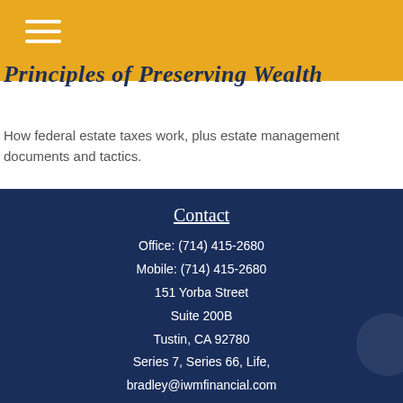Principles of Preserving Wealth
How federal estate taxes work, plus estate management documents and tactics.
Contact
Office: (714) 415-2680
Mobile: (714) 415-2680
151 Yorba Street
Suite 200B
Tustin, CA 92780
Series 7, Series 66, Life,
bradley@iwmfinancial.com
[Figure (other): Social media icons: Facebook and LinkedIn]
Quick Links